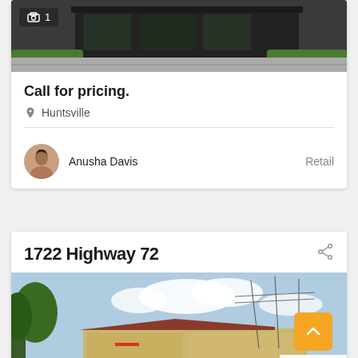[Figure (photo): Modern black building exterior rendering with green hedges, aerial view]
Call for pricing.
Huntsville
Anusha Davis  Retail
1722 Highway 72
[Figure (photo): Photo of a commercial building with metal roof, trees and power lines in background, cloudy sky]